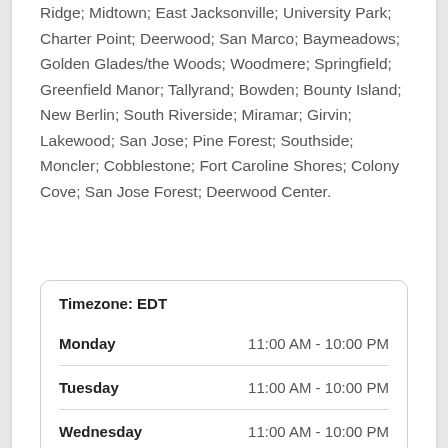Ridge; Midtown; East Jacksonville; University Park; Charter Point; Deerwood; San Marco; Baymeadows; Golden Glades/the Woods; Woodmere; Springfield; Greenfield Manor; Tallyrand; Bowden; Bounty Island; New Berlin; South Riverside; Miramar; Girvin; Lakewood; San Jose; Pine Forest; Southside; Moncler; Cobblestone; Fort Caroline Shores; Colony Cove; San Jose Forest; Deerwood Center.
| Day | Hours |
| --- | --- |
| Timezone: EDT |  |
| Monday | 11:00 AM - 10:00 PM |
| Tuesday | 11:00 AM - 10:00 PM |
| Wednesday | 11:00 AM - 10:00 PM |